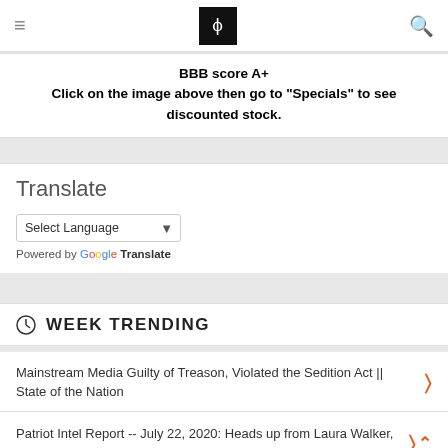≡  φ  🔍
BBB score A+
Click on the image above then go to "Specials" to see discounted stock.
Translate
Select Language  Powered by Google Translate
WEEK TRENDING
Mainstream Media Guilty of Treason, Violated the Sedition Act || State of the Nation
Patriot Intel Report -- July 22, 2020: Heads up from Laura Walker, False Flag Warning